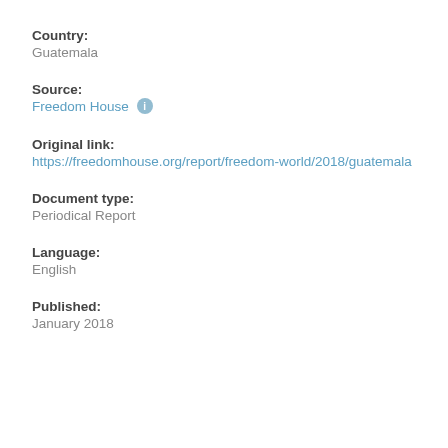Country:
Guatemala
Source:
Freedom House
Original link:
https://freedomhouse.org/report/freedom-world/2018/guatemala
Document type:
Periodical Report
Language:
English
Published:
January 2018